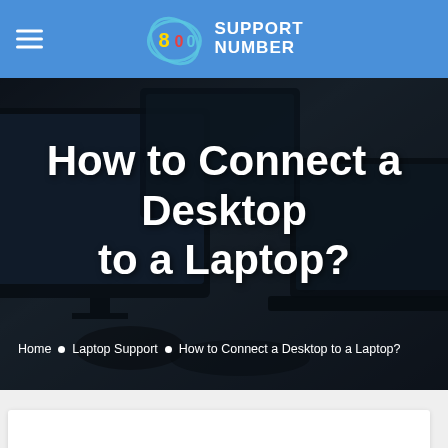800 SUPPORT NUMBER
How to Connect a Desktop to a Laptop?
Home • Laptop Support • How to Connect a Desktop to a Laptop?